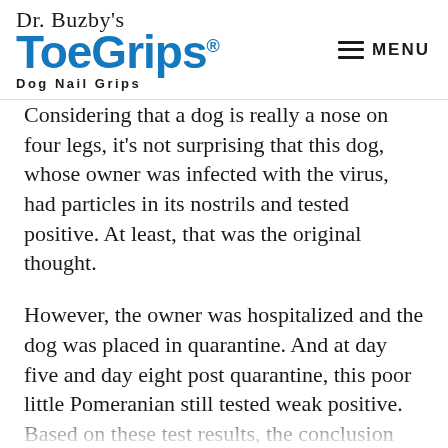Dr. Buzby's ToeGrips® Dog Nail Grips | MENU
Considering that a dog is really a nose on four legs, it's not surprising that this dog, whose owner was infected with the virus, had particles in its nostrils and tested positive. At least, that was the original thought.
However, the owner was hospitalized and the dog was placed in quarantine. And at day five and day eight post quarantine, this poor little Pomeranian still tested weak positive. Based on these test results, the conclusion was drawn that the dog was probably actually infected